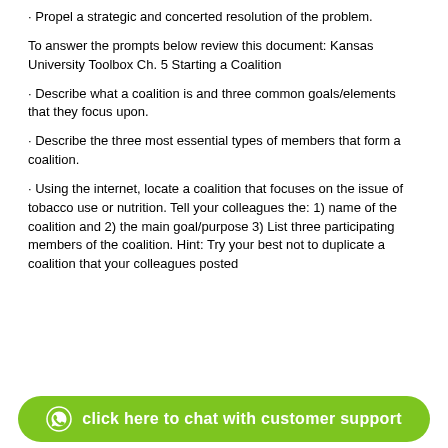· Propel a strategic and concerted resolution of the problem.
To answer the prompts below review this document: Kansas University Toolbox Ch. 5 Starting a Coalition
· Describe what a coalition is and three common goals/elements that they focus upon.
· Describe the three most essential types of members that form a coalition.
· Using the internet, locate a coalition that focuses on the issue of tobacco use or nutrition. Tell your colleagues the: 1) name of the coalition and 2) the main goal/purpose 3) List three participating members of the coalition. Hint: Try your best not to duplicate a coalition that your colleagues posted
click here to chat with customer support